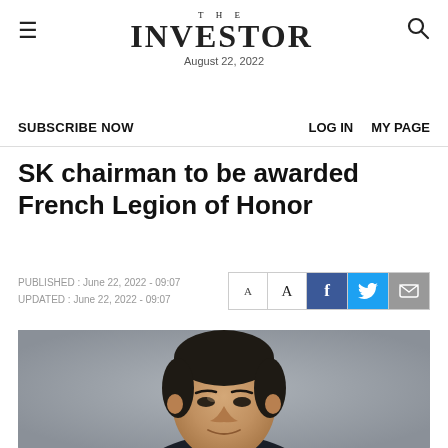THE INVESTOR — August 22, 2022
SUBSCRIBE NOW   LOG IN   MY PAGE
SK chairman to be awarded French Legion of Honor
PUBLISHED : June 22, 2022 - 09:07
UPDATED : June 22, 2022 - 09:07
[Figure (photo): Portrait photo of SK chairman, a middle-aged Asian man in business attire against a grey background]